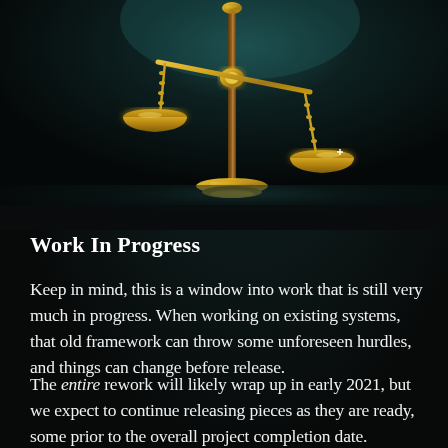[Figure (illustration): A golden scales of justice illustration against a dark teal/black background. The scales are tilted with ornate golden pans hanging from a central wooden pole with a decorative top. The right pan hangs lower than the left. The image has a dark, atmospheric fantasy art style.]
Work In Progress
Keep in mind, this is a window into work that is still very much in progress. When working on existing systems, that old framework can throw some unforeseen hurdles, and things can change before release.
The entire rework will likely wrap up in early 2021, but we expect to continue releasing pieces as they are ready, some prior to the overall project completion date.